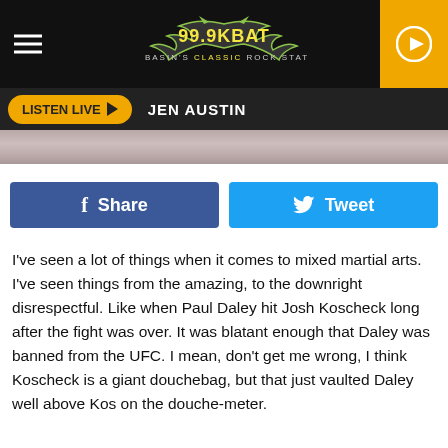[Figure (logo): 99.9 KBAT radio station logo with bat graphic and tagline 'THE BASIN'S CLASSIC ROCK STATION' on black background]
LISTEN LIVE  JEN AUSTIN
Share   Tweet
I've seen a lot of things when it comes to mixed martial arts. I've seen things from the amazing, to the downright disrespectful. Like when Paul Daley hit Josh Koscheck long after the fight was over. It was blatant enough that Daley was banned from the UFC. I mean, don't get me wrong, I think Koscheck is a giant douchebag, but that just vaulted Daley well above Kos on the douche-meter.